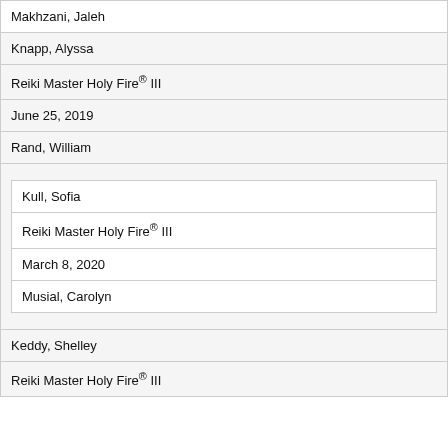| Makhzani, Jaleh |
| Knapp, Alyssa |
| Reiki Master Holy Fire® III |
| June 25, 2019 |
| Rand, William |
| [nested: Kull, Sofia / Reiki Master Holy Fire® III / March 8, 2020 / Musial, Carolyn] |
| Keddy, Shelley |
| Reiki Master Holy Fire® III |